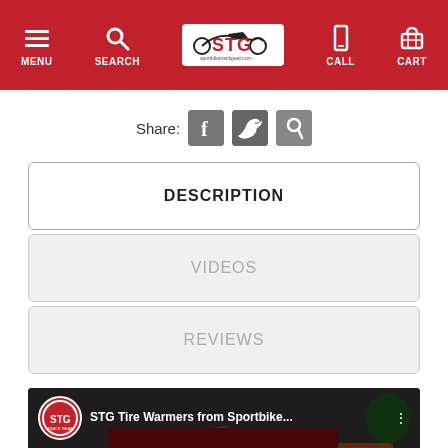STG Sportbike Track Gear navigation bar with MENU, SEARCH, logo, CALL, CART
Share:
DESCRIPTION
VIDEOS
REVIEWS
[Figure (screenshot): YouTube video thumbnail: STG Tire Warmers from Sportbike... with Contact Us button overlay]